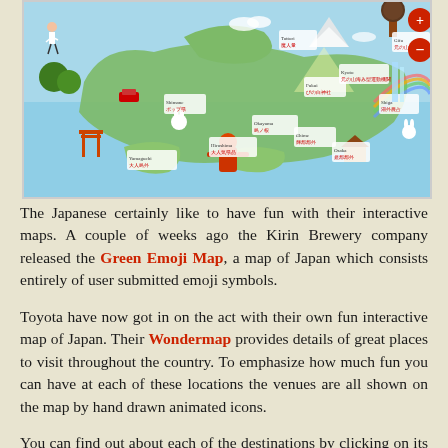[Figure (illustration): Colorful illustrated map of Japan (Toyota Wondermap) showing hand-drawn animated icons of landmarks and attractions across Japanese prefectures. Features cartoon characters, mountains, temples, and regional icons with Japanese text labels. A red circle with + and a red circle with - (zoom controls) appear on the right edge.]
The Japanese certainly like to have fun with their interactive maps. A couple of weeks ago the Kirin Brewery company released the Green Emoji Map, a map of Japan which consists entirely of user submitted emoji symbols.
Toyota have now got in on the act with their own fun interactive map of Japan. Their Wondermap provides details of great places to visit throughout the country. To emphasize how much fun you can have at each of these locations the venues are all shown on the map by hand drawn animated icons.
You can find out about each of the destinations by clicking on its animated marker on the map. The information includes